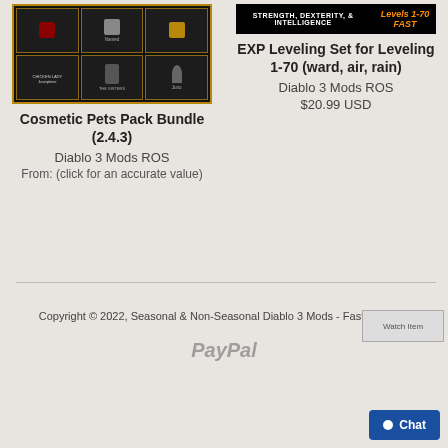[Figure (screenshot): Game item grid showing cosmetic pets in a dark UI with gold borders]
Cosmetic Pets Pack Bundle (2.4.3)
Diablo 3 Mods ROS
From: (click for an accurate value)
[Figure (screenshot): Banner image with text: STRENGTH, DEXTERITY, & INTELLIGENCE Levels 1-70 FAST]
EXP Leveling Set for Leveling 1-70 (ward, air, rain)
Diablo 3 Mods ROS
$20.99 USD
Copyright © 2022, Seasonal & Non-Seasonal Diablo 3 Mods - Fast Delivery.
[Figure (logo): PayPal logo text]
[Figure (screenshot): Watch Item button image]
Chat